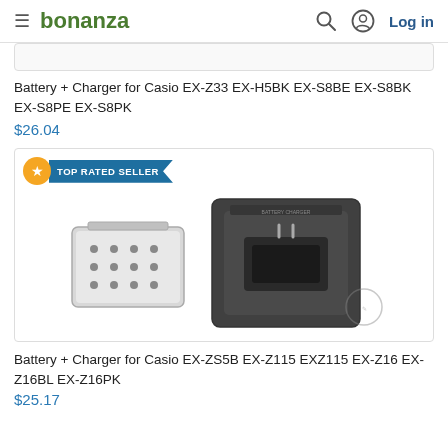bonanza  Log in
[Figure (photo): Partial product image cut off at top (product stub area)]
Battery + Charger for Casio EX-Z33 EX-H5BK EX-S8BE EX-S8BK EX-S8PE EX-S8PK
$26.04
[Figure (photo): Product listing photo showing a camera battery and battery charger with TOP RATED SELLER badge]
Battery + Charger for Casio EX-ZS5B EX-Z115 EXZ115 EX-Z16 EX-Z16BL EX-Z16PK
$25.17